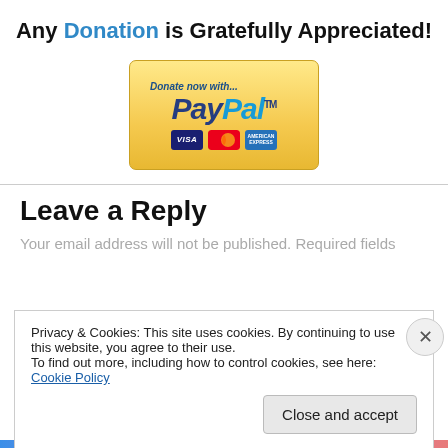Any Donation is Gratefully Appreciated!
[Figure (logo): PayPal donation button with 'Donate now with...' text and Visa, Mastercard, American Express card icons on a gold/yellow gradient background]
Leave a Reply
Your email address will not be published. Required fields
Privacy & Cookies: This site uses cookies. By continuing to use this website, you agree to their use.
To find out more, including how to control cookies, see here: Cookie Policy
Close and accept